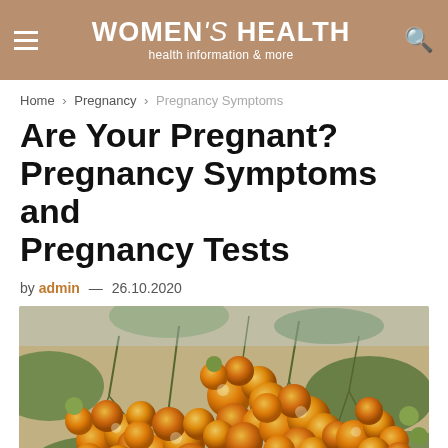WOMEN's HEALTH health information & more
Home > Pregnancy > Pregnancy Symptoms
Are Your Pregnant? Pregnancy Symptoms and Pregnancy Tests
by admin — 26.10.2020
[Figure (photo): Close-up photograph of clusters of small orange round fruits (resembling cherry tomatoes or similar berries) hanging on green stems with leaves in the background]